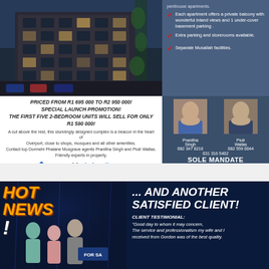[Figure (photo): Rendered image of a modern multi-storey apartment building with glass balconies and green plants]
Each apartment offers a private balcony with wonderful inland views and 1 under-cover basement parking .
Extra parking and storerooms available.
Separate Musallah facilities.
PRICED FROM R1 695 000 TO R2 950 000!
SPECIAL LAUNCH PROMOTION!
THE FIRST FIVE 2-BEDROOM UNITS WILL SELL FOR ONLY R1 590 000!
A cut above the rest, this stunningly designed complex is a beacon in the heart of Overport, close to shops, mosques and all other amenities. Contact top Dormehl Phalane Musgrave agents Pranitha Singh and Piotr Wallas. Friendly experts in property.
[Figure (logo): Dormehl Phalane Musgrave Property Group logo with house icon]
[Figure (photo): Headshot photos of agents Pranitha Singh and Piotr Wallas]
Pranitha Singh 082 347 8216
Piotr Wallas 082 559 0044
031 316 5402
SOLE MANDATE
[Figure (infographic): HOT NEWS! banner advertisement for another satisfied client with group photo]
... AND ANOTHER SATISFIED CLIENT!
CLIENT TESTIMONIAL:
"Good day to whom it may concern, The service and professionalism my wife and I received from Gordon was of the best quality.